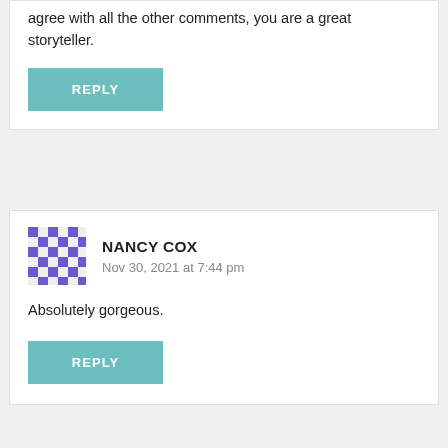agree with all the other comments, you are a great storyteller.
REPLY
NANCY COX
Nov 30, 2021 at 7:44 pm
Absolutely gorgeous.
REPLY